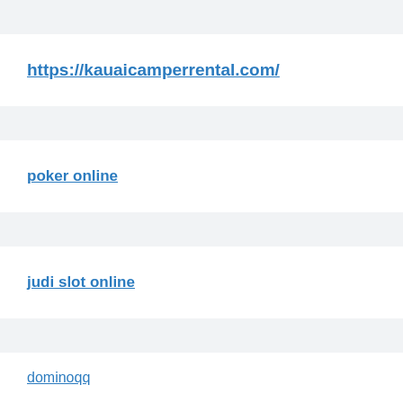https://kauaicamperrental.com/
poker online
judi slot online
dominoqq